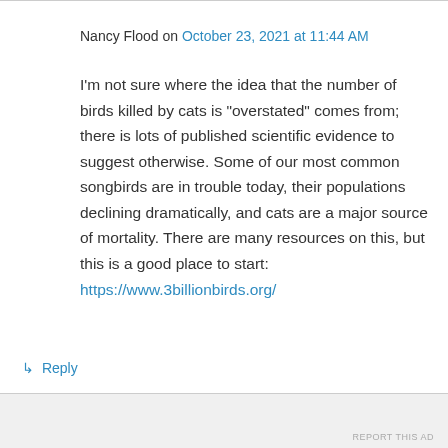Nancy Flood on October 23, 2021 at 11:44 AM
I'm not sure where the idea that the number of birds killed by cats is “overstated” comes from; there is lots of published scientific evidence to suggest otherwise. Some of our most common songbirds are in trouble today, their populations declining dramatically, and cats are a major source of mortality. There are many resources on this, but this is a good place to start: https://www.3billionbirds.org/
↳ Reply
Advertisements